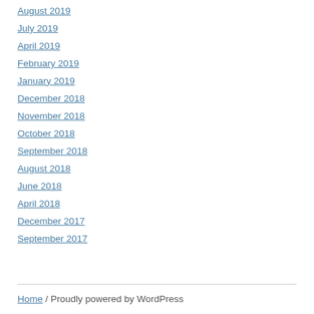August 2019
July 2019
April 2019
February 2019
January 2019
December 2018
November 2018
October 2018
September 2018
August 2018
June 2018
April 2018
December 2017
September 2017
Home / Proudly powered by WordPress